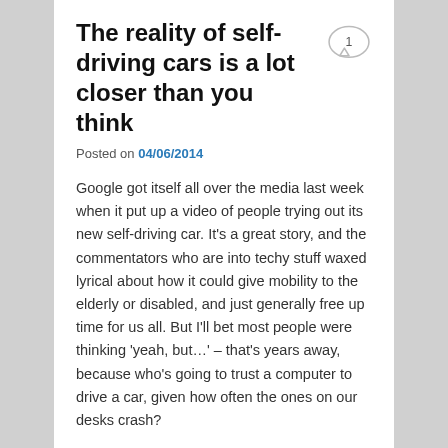The reality of self-driving cars is a lot closer than you think
Posted on 04/06/2014
Google got itself all over the media last week when it put up a video of people trying out its new self-driving car. It's a great story, and the commentators who are into techy stuff waxed lyrical about how it could give mobility to the elderly or disabled, and just generally free up time for us all. But I'll bet most people were thinking 'yeah, but…' – that's years away, because who's going to trust a computer to drive a car, given how often the ones on our desks crash?
What fewer people pointed out was that the driverless car won't be a leap of faith, it's a series of small steps – and we've already taken a lot of them.